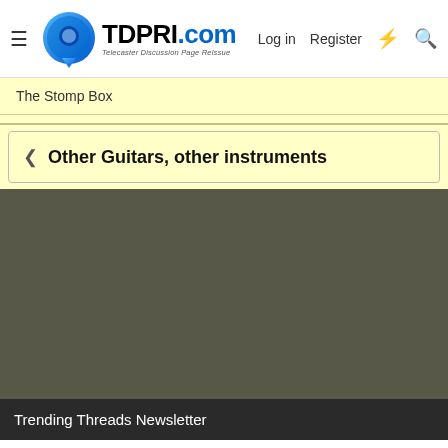TDPRI.com - Telecaster Discussion Page Reissue | Log in | Register
The Stomp Box
Other Guitars, other instruments
Trending Threads Newsletter